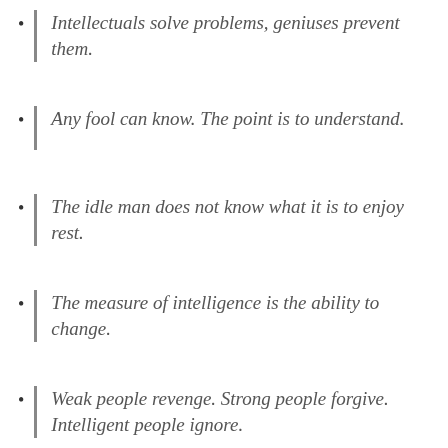Intellectuals solve problems, geniuses prevent them.
Any fool can know. The point is to understand.
The idle man does not know what it is to enjoy rest.
The measure of intelligence is the ability to change.
Weak people revenge. Strong people forgive. Intelligent people ignore.